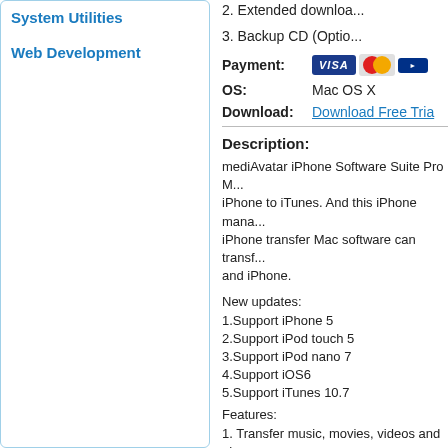System Utilities
Web Development
2. Extended download...
3. Backup CD (Option...
Payment: [VISA, MasterCard, other card icons]
OS: Mac OS X
Download: Download Free Trial
Description:
mediAvatar iPhone Software Suite Pro M... iPhone to iTunes. And this iPhone mana... iPhone transfer Mac software can transf... and iPhone.
New updates:
1.Support iPhone 5
2.Support iPod touch 5
3.Support iPod nano 7
4.Support iOS6
5.Support iTunes 10.7
Features:
1. Transfer music, movies, videos and ph...
2. Convert almost all video/audio formats... WMA, AAC, AIF, AIFF, AC3, etc.) to iPho...
3. Rip CDs/DVDs to iPhone music/video...
4. Allows you to copy iPhone files among...
5. Supports iPhone, iPhone 3G, iPhone...
6. Allows Mac users to transfer the same...
8. Recognize your iPhone device informa...